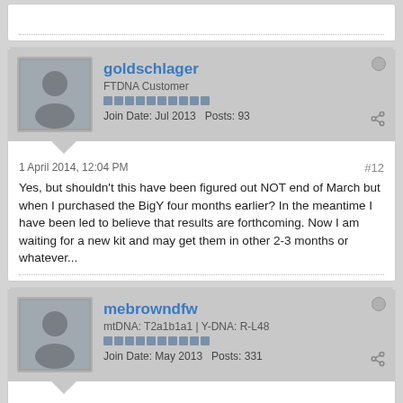[Figure (screenshot): Top partial post block showing dotted divider line at bottom]
goldschlager
FTDNA Customer
Join Date: Jul 2013   Posts: 93
1 April 2014, 12:04 PM
#12
Yes, but shouldn't this have been figured out NOT end of March but when I purchased the BigY four months earlier? In the meantime I have been led to believe that results are forthcoming. Now I am waiting for a new kit and may get them in other 2-3 months or whatever...
mebrowndfw
mtDNA: T2a1b1a1 | Y-DNA: R-L48
Join Date: May 2013   Posts: 331
1 April 2014, 12:17 PM
#13